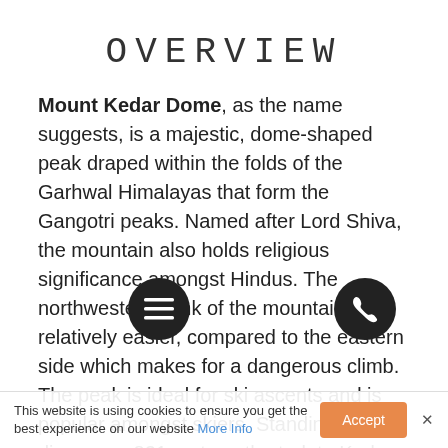OVERVIEW
Mount Kedar Dome, as the name suggests, is a majestic, dome-shaped peak draped within the folds of the Garhwal Himalayas that form the Gangotri peaks. Named after Lord Shiva, the mountain also holds religious significance amongst Hindus. The northwestern flank of the mountain is relatively easier, compared to the eastern side which makes for a dangerous climb. The peak is ideal for ski ascents and is popular amongst skiers. Standing tall at a dizzy 6,831 meters, the trek to Kedar, though easy, demands prior high altitude trekking experience along with the ability to endure extreme weather conditions. The initial
This website is using cookies to ensure you get the best experience on our website More Info
Accept